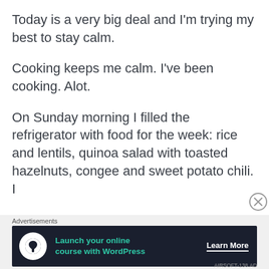Today is a very big deal and I'm trying my best to stay calm.
Cooking keeps me calm. I've been cooking. Alot.
On Sunday morning I filled the refrigerator with food for the week: rice and lentils, quinoa salad with toasted hazelnuts, congee and sweet potato chili. I
Advertisements
[Figure (screenshot): Advertisement banner: dark background with tree/person icon, text 'Launch your online course with WordPress', 'Learn More' button]